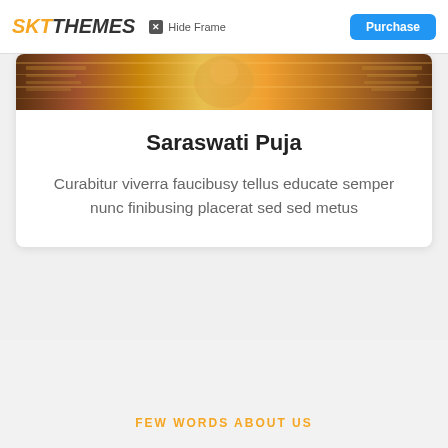SKT THEMES  Hide Frame  Purchase
[Figure (photo): Cropped artwork image showing colorful traditional Indian painting/illustration strip]
Saraswati Puja
Curabitur viverra faucibusy tellus educate semper nunc finibusing placerat sed sed metus
FEW WORDS ABOUT US